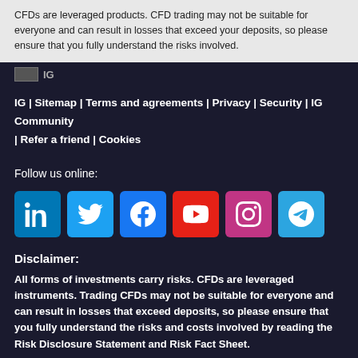CFDs are leveraged products. CFD trading may not be suitable for everyone and can result in losses that exceed your deposits, so please ensure that you fully understand the risks involved.
IG | Sitemap | Terms and agreements | Privacy | Security | IG Community | Refer a friend | Cookies
Follow us online:
[Figure (infographic): Six social media icon buttons in a row: LinkedIn (blue), Twitter (light blue), Facebook (blue), YouTube (red), Instagram (pink/magenta), Telegram (light blue)]
Disclaimer:
All forms of investments carry risks. CFDs are leveraged instruments. Trading CFDs may not be suitable for everyone and can result in losses that exceed deposits, so please ensure that you fully understand the risks and costs involved by reading the Risk Disclosure Statement and Risk Fact Sheet.